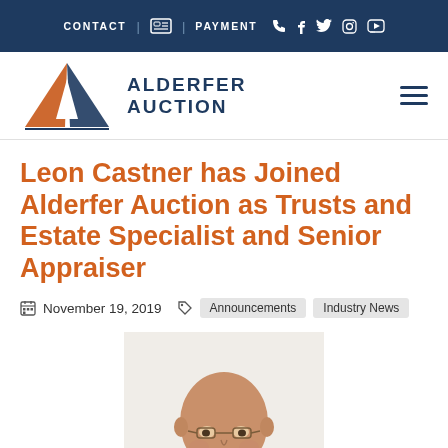CONTACT | [news icon] | PAYMENT [phone] [facebook] [twitter] [instagram] [youtube]
[Figure (logo): Alderfer Auction logo with orange and navy triangle 'AA' icon and text 'ALDERFER AUCTION']
Leon Castner has Joined Alderfer Auction as Trusts and Estate Specialist and Senior Appraiser
November 19, 2019   Announcements   Industry News
[Figure (photo): Head and shoulders photo of a bald man wearing glasses, cropped at the bottom of the page]